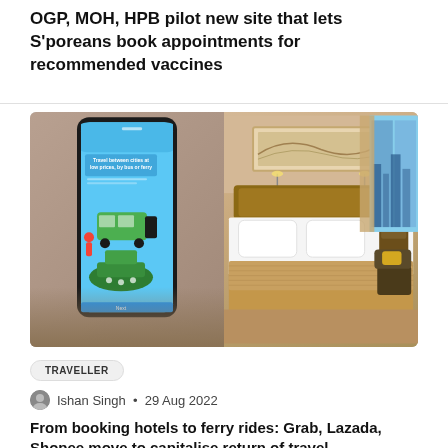OGP, MOH, HPB pilot new site that lets S'poreans book appointments for recommended vaccines
[Figure (photo): Two-panel image: left panel shows a hand holding a smartphone displaying a travel app with text 'Travel between cities at low prices, by bus or ferry' and illustrations of a bus and ferry; right panel shows a hotel room with a large bed, warm lighting, and city view through windows.]
TRAVELLER
Ishan Singh • 29 Aug 2022
From booking hotels to ferry rides: Grab, Lazada, Shopee move to capitalise return of travel